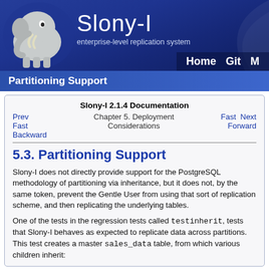[Figure (logo): Slony-I logo with elephant graphic and text 'Slony-I enterprise-level replication system' on blue banner with navigation links Home, Git, M]
Partitioning Support
Slony-I 2.1.4 Documentation
Prev  Fast Backward  Chapter 5. Deployment Considerations  Fast Forward  Next
5.3. Partitioning Support
Slony-I does not directly provide support for the PostgreSQL methodology of partitioning via inheritance, but it does not, by the same token, prevent the Gentle User from using that sort of replication scheme, and then replicating the underlying tables.
One of the tests in the regression tests called testinherit, tests that Slony-I behaves as expected to replicate data across partitions. This test creates a master sales_data table, from which various children inherit: